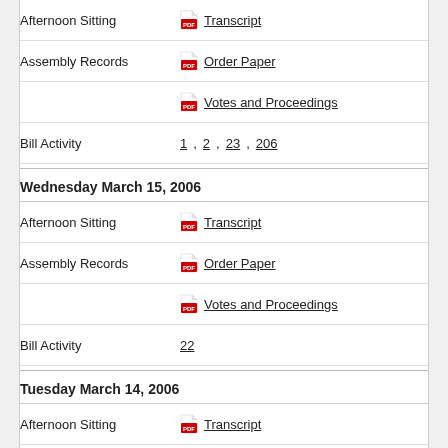Afternoon Sitting — Transcript
Assembly Records — Order Paper
Votes and Proceedings
Bill Activity — 1, 2, 23, 206
Wednesday March 15, 2006
Afternoon Sitting — Transcript
Assembly Records — Order Paper
Votes and Proceedings
Bill Activity — 22
Tuesday March 14, 2006
Afternoon Sitting — Transcript
Assembly Records — Order Paper